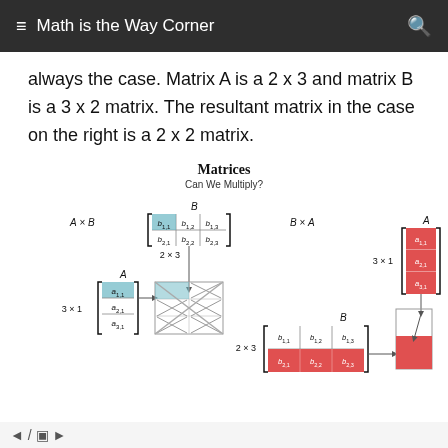Math is the Way Corner
always the case. Matrix A is a 2 x 3 and matrix B is a 3 x 2 matrix. The resultant matrix in the case on the right is a 2 x 2 matrix.
[Figure (illustration): Diagram showing matrix multiplication 'Matrices - Can We Multiply?' with two examples: A×B (2×3 times 3×1 giving a result matrix with highlighted cell) and B×A (3×1 times 2×3), showing matrix elements with subscript notation b1,1 b1,2 b1,3 / b2,1 b2,2 b2,3 and a1,1 / a2,1 / a3,1.]
◄ / ▣ ►